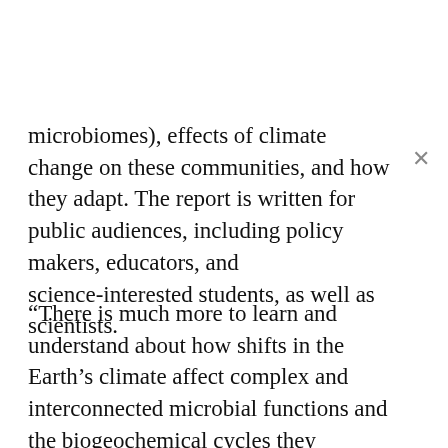microbiomes), effects of climate change on these communities, and how they adapt. The report is written for public audiences, including policy makers, educators, and science-interested students, as well as scientists.
“There is much more to learn and understand about how shifts in the Earth’s climate affect complex and interconnected microbial functions and the biogeochemical cycles they mediate,” said Eric Davidson, AGU President and a biogeochemist. “The information in this joint report lays out the current understanding of microbial ecosystem